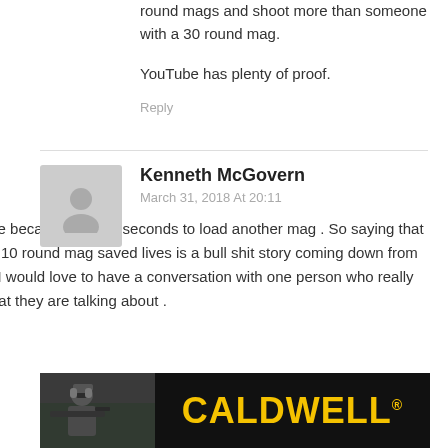round mags and shoot more than someone with a 30 round mag.
YouTube has plenty of proof.
Reply
Kenneth McGovern
March 31, 2018 At 20:11
I disagree because it takes seconds to load another mag . So saying that having a 10 round mag saved lives is a bull shit story coming down from the left . I would love to have a conversation with one person who really know what they are talking about .
Reply
[Figure (photo): Advertisement banner for Caldwell showing a person with shooting gear on the left and the CALDWELL brand name in large yellow letters on a dark background.]